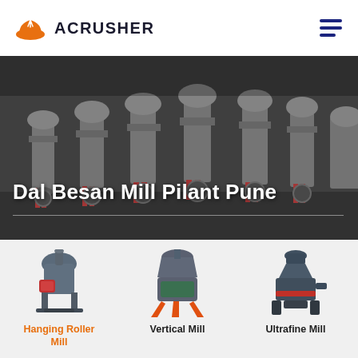ACRUSHER
[Figure (photo): Industrial milling machines in a factory — a row of large grey vertical roller mills with red hydraulic cylinders, photographed in a wide plant hall]
Dal Besan Mill Pilant Pune
[Figure (photo): Hanging Roller Mill machine — a compact grinding mill with a red inlet and metal frame stand]
Hanging Roller Mill
[Figure (photo): Vertical Mill machine — a tall industrial mill with blue-green motor and orange legs/supports]
Vertical Mill
[Figure (photo): Ultrafine Mill machine — a compact dark-colored ultrafine grinding machine]
Ultrafine Mill